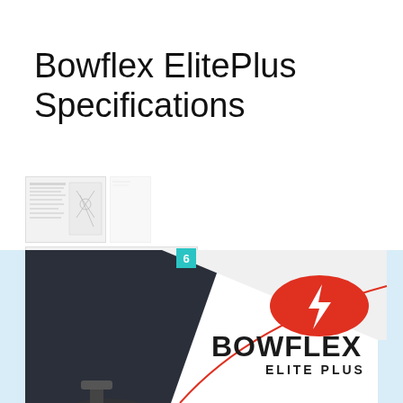Bowflex ElitePlus Specifications
[Figure (screenshot): Carousel navigation UI showing document thumbnails with page 6 badge highlighted, navigation arrows, and dot indicators]
[Figure (photo): Bowflex Elite Plus product branding image with dark background, red Bowflex logo, and exercise machine partially visible]